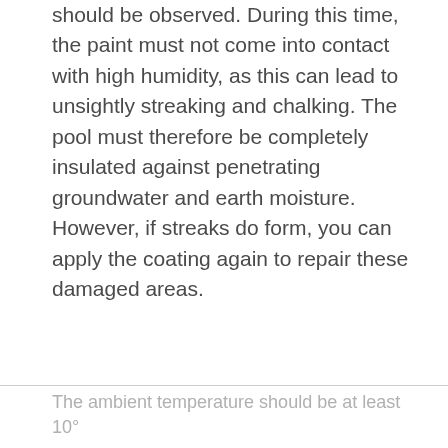should be observed. During this time, the paint must not come into contact with high humidity, as this can lead to unsightly streaking and chalking. The pool must therefore be completely insulated against penetrating groundwater and earth moisture. However, if streaks do form, you can apply the coating again to repair these damaged areas.
The ambient temperature should be at least 10°